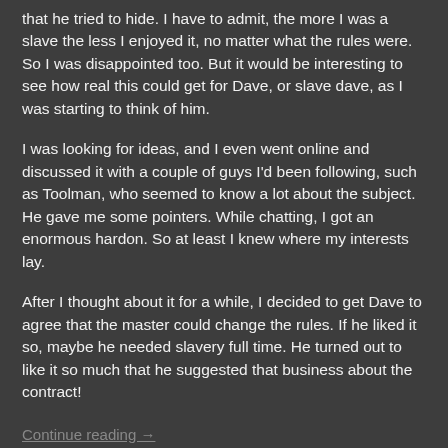that he tried to hide.  I have to admit, the more I was a slave the less I enjoyed it, no matter what the rules were.  So I was disappointed too.  But it would be interesting to see how real this could get for Dave, or slave dave, as I was starting to think of him.
I was looking for ideas, and I even went online and discussed it with a couple of guys I'd been following, such as Toolman, who seemed to know a lot about the subject.  He gave me some pointers.  While chatting, I got an enormous hardon.  So at least I knew where my interests lay.
After I thought about it for a while, I decided to get Dave to agree that the master could change the rules.  If he liked it so, maybe he needed slavery full time.  He turned out to like it so much that he suggested that business about the contract!
Continue reading →